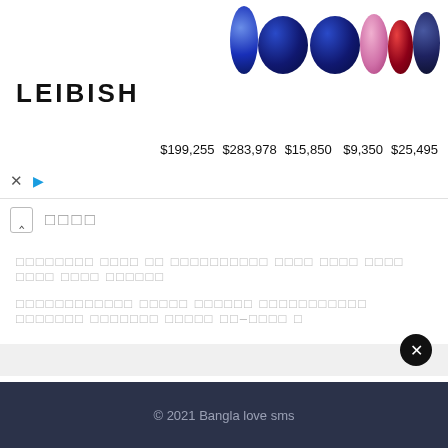[Figure (screenshot): LEIBISH gem advertisement banner showing blue round sapphire ($199,255), two blue oval sapphires ($283,978), pink oval diamond ($15,850), red ruby oval ($9,350), and dark blue round cabochon ($25,495)]
ＤＤＤ
ＤＤＤＤＤＤＤＤＤＤＤＤＤＤＤＤＤＤＤＤＤＤＤＤＤＤＤＤＤＤＤＤＤＤＤＤＤＤＤＤＤＤＤＤＤＤＤＤＤＤＤＤＤＤＤＤＤＤＤＤＤＤＤＤＤＤＤＤ
ＤＤＤＤＤＤＤＤＤＤＤＤＤＤＤＤＤＤＤＤＤＤＤＤＤＤＤＤＤＤＤＤＤＤＤＤＤＤＤＤＤＤＤＤＤＤＤＤＤＤＤＤＤＤＤＤＤＤＤＤＤＤＤＤＤＤＤＤ
Live cricket streaming watch online TV
© 2021 Bangla love sms